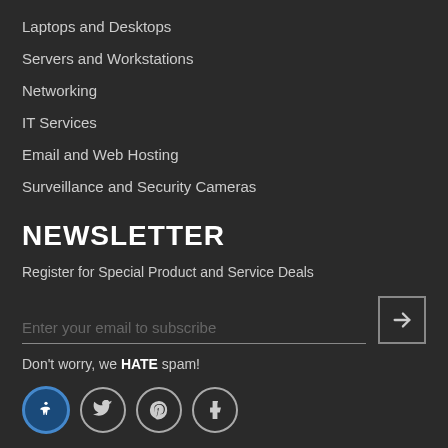Laptops and Desktops
Servers and Workstations
Networking
IT Services
Email and Web Hosting
Surveillance and Security Cameras
NEWSLETTER
Register for Special Product and Service Deals
Enter your email to subscribe
Don't worry, we HATE spam!
[Figure (illustration): Social media icons row: accessibility icon (blue circle), Twitter bird icon, Pinterest P icon, Tumblr T icon]